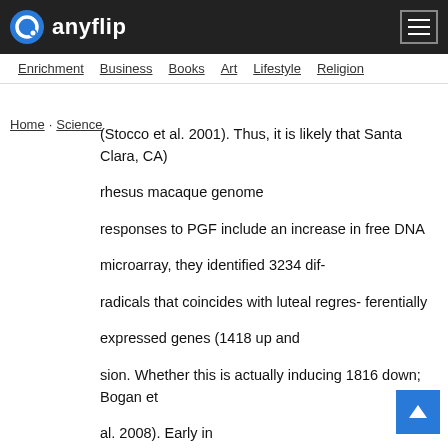anyflip
Enrichment  Business  Books  Art  Lifestyle  Religion
Home · Science
(Stocco et al. 2001). Thus, it is likely that Santa Clara, CA) rhesus macaque genome responses to PGF include an increase in free DNA microarray, they identified 3234 dif- radicals that coincides with luteal regres- ferentially expressed genes (1418 up and sion. Whether this is actually inducing 1816 down; Bogan et al. 2008). Early in regression or merely a result of CL regres- CL development, most transcripts were sion remains to be determined. increased, whereas later in development the converse was true. One of the strengths of In a recently published study using the this study was their extensive validation bonnet monkey (Macaca radiata), PGF and of microarray